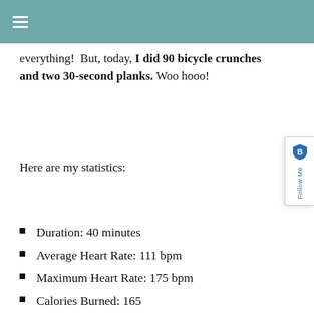≡ (navigation menu icon)
everything!  But, today, I did 90 bicycle crunches and two 30-second planks. Woo hooo!
Here are my statistics:
Duration: 40 minutes
Average Heart Rate: 111 bpm
Maximum Heart Rate: 175 bpm
Calories Burned: 165